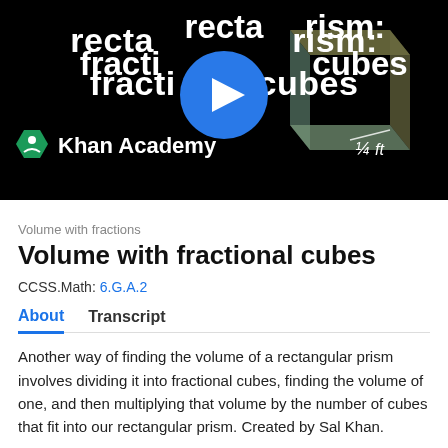[Figure (screenshot): Khan Academy video thumbnail showing 'Rectangular prism: fractional cubes' title in white bold text on black background, with a blue circular play button in the center, Khan Academy logo (green hexagon with person icon) and name in white at bottom left, and a handwritten fraction annotation '¼ ft' visible at bottom right]
Volume with fractions
Volume with fractional cubes
CCSS.Math: 6.G.A.2
About    Transcript
Another way of finding the volume of a rectangular prism involves dividing it into fractional cubes, finding the volume of one, and then multiplying that volume by the number of cubes that fit into our rectangular prism. Created by Sal Khan.